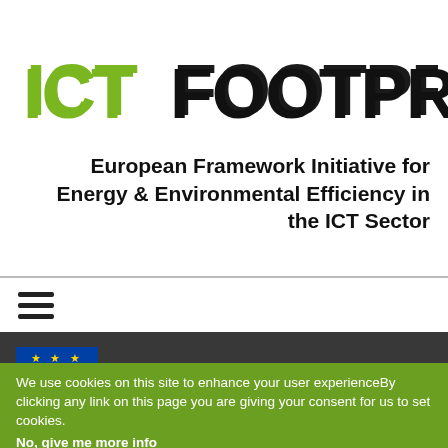[Figure (logo): ICTFootprint.eu logo with green tree icon above the dot between FOOTPRINT and EU]
European Framework Initiative for Energy & Environmental Efficiency in the ICT Sector
[Figure (infographic): Hamburger menu icon (three horizontal lines)]
We use cookies on this site to enhance your user experienceBy clicking any link on this page you are giving your consent for us to set cookies.
No, give me more info
OK, I agree